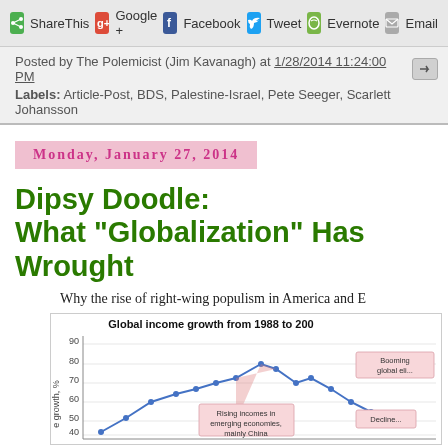ShareThis  Google +  Facebook  Tweet  Evernote  Email
Posted by The Polemicist (Jim Kavanagh) at 1/28/2014 11:24:00 PM
Labels: Article-Post, BDS, Palestine-Israel, Pete Seeger, Scarlett Johansson
Monday, January 27, 2014
Dipsy Doodle: What "Globalization" Has Wrought
Why the rise of right-wing populism in America and E
[Figure (line-chart): Line chart showing global income growth percentage from 1988 to 2000s, with annotations for 'Rising incomes in emerging economies, mainly China', 'Booming global eli...', and 'Decline...' The y-axis shows 'e growth, %' with values 40-90 visible. The line peaks around 80% then drops.]